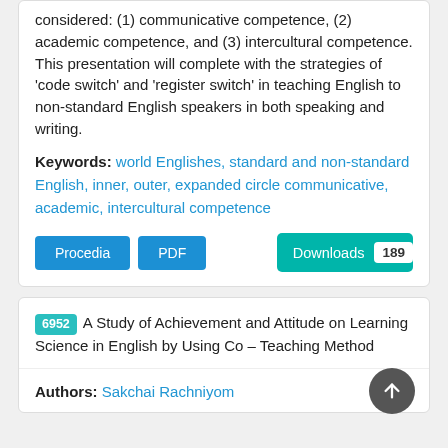considered: (1) communicative competence, (2) academic competence, and (3) intercultural competence. This presentation will complete with the strategies of 'code switch' and 'register switch' in teaching English to non-standard English speakers in both speaking and writing.
Keywords: world Englishes, standard and non-standard English, inner, outer, expanded circle communicative, academic, intercultural competence
Procedia | PDF | Downloads 189
6952 A Study of Achievement and Attitude on Learning Science in English by Using Co – Teaching Method
Authors: Sakchai Rachniyom